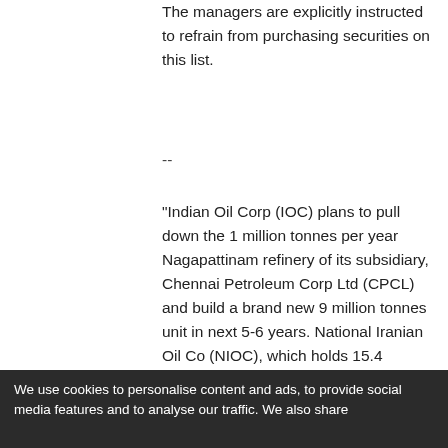The managers are explicitly instructed to refrain from purchasing securities on this list.
--
"Indian Oil Corp (IOC) plans to pull down the 1 million tonnes per year Nagapattinam refinery of its subsidiary, Chennai Petroleum Corp Ltd (CPCL) and build a brand new 9 million tonnes unit in next 5-6 years. National Iranian Oil Co (NIOC), which holds 15.4 percent stake in CPCL, is keen to participate in the expansion project, Singh told reporters here." (Firstpost, 2/2/2019).
We use cookies to personalise content and ads, to provide social media features and to analyse our traffic. We also share